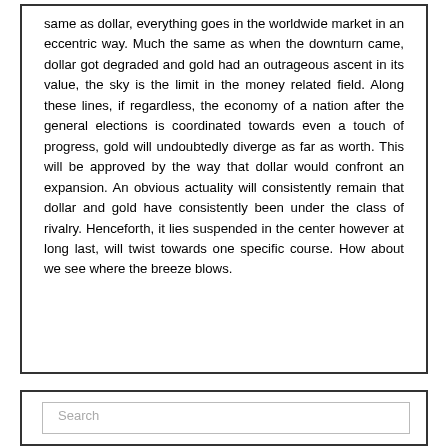same as dollar, everything goes in the worldwide market in an eccentric way. Much the same as when the downturn came, dollar got degraded and gold had an outrageous ascent in its value, the sky is the limit in the money related field. Along these lines, if regardless, the economy of a nation after the general elections is coordinated towards even a touch of progress, gold will undoubtedly diverge as far as worth. This will be approved by the way that dollar would confront an expansion. An obvious actuality will consistently remain that dollar and gold have consistently been under the class of rivalry. Henceforth, it lies suspended in the center however at long last, will twist towards one specific course. How about we see where the breeze blows.